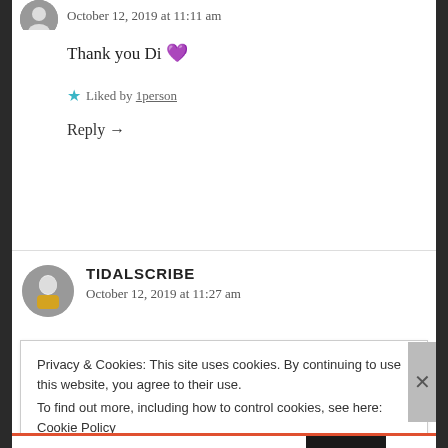October 12, 2019 at 11:11 am
Thank you Di 💜
★ Liked by 1person
Reply →
TIDALSCRIBE
October 12, 2019 at 11:27 am
Privacy & Cookies: This site uses cookies. By continuing to use this website, you agree to their use.
To find out more, including how to control cookies, see here: Cookie Policy
Close and accept